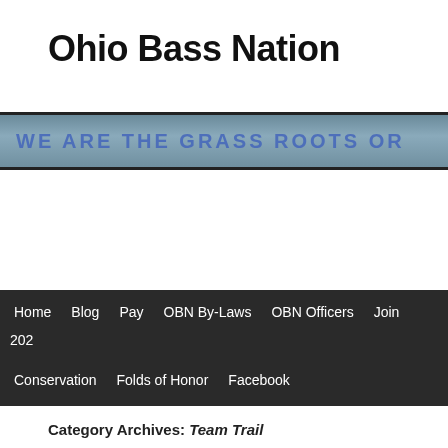Ohio Bass Nation
[Figure (screenshot): Website banner with blue-gray gradient background and text 'WE ARE THE GRASS ROOTS OR...' in blue uppercase letters]
Home  Blog  Pay  OBN By-Laws  OBN Officers  Join  202...  Conservation  Folds of Honor  Facebook
Category Archives: Team Trail